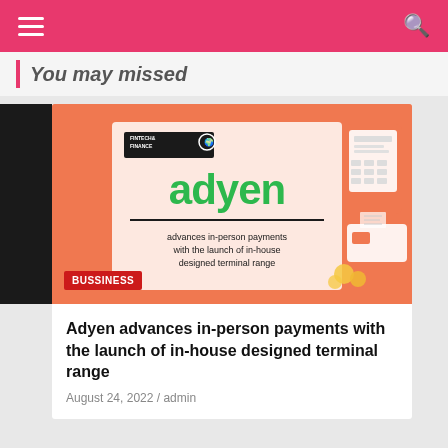Navigation bar with hamburger menu and search icon
You may missed
[Figure (illustration): Adyen branded promotional image on orange background showing Adyen logo in green, with text 'advances in-person payments with the launch of in-house designed terminal range', Fintech & Finance logo in top left, and a 3D payment terminal on the right side. BUSSINESS category tag at bottom left.]
Adyen advances in-person payments with the launch of in-house designed terminal range
August 24, 2022 / admin